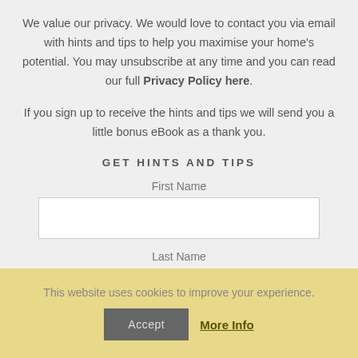We value our privacy. We would love to contact you via email with hints and tips to help you maximise your home's potential. You may unsubscribe at any time and you can read our full Privacy Policy here.
If you sign up to receive the hints and tips we will send you a little bonus eBook as a thank you.
GET HINTS AND TIPS
First Name
Last Name
This website uses cookies to improve your experience.
Accept   More Info